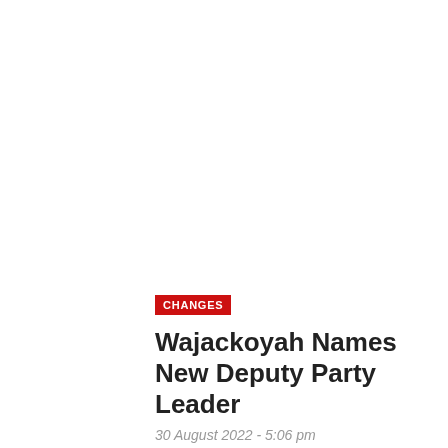CHANGES
Wajackoyah Names New Deputy Party Leader
30 August 2022 - 5:06 pm